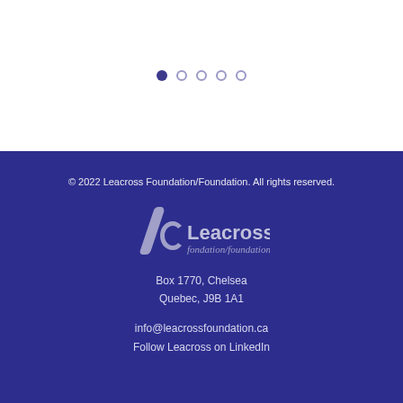[Figure (other): Five pagination dots, one filled dark purple and four outlined in lighter purple]
© 2022 Leacross Foundation/Foundation. All rights reserved.
[Figure (logo): Leacross fondation/foundation logo with stylized 'lc' monogram]
Box 1770, Chelsea
Quebec, J9B 1A1
info@leacrossfoundation.ca
Follow Leacross on LinkedIn